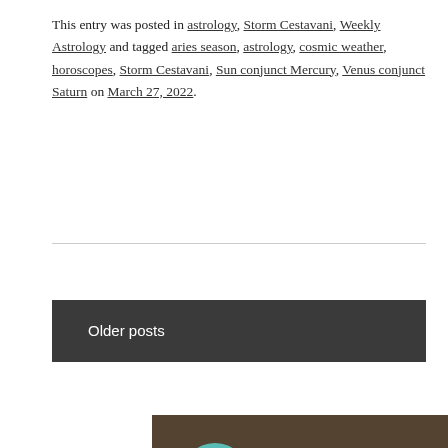This entry was posted in astrology, Storm Cestavani, Weekly Astrology and tagged aries season, astrology, cosmic weather, horoscopes, Storm Cestavani, Sun conjunct Mercury, Venus conjunct Saturn on March 27, 2022.
Older posts
[Figure (screenshot): YouTube video thumbnail showing Keen - My Psychic A... with a red play button and the Keen logo.]